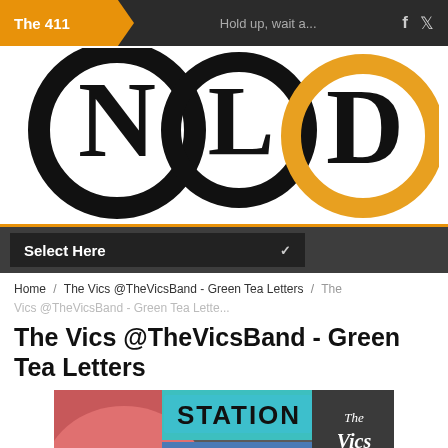The 411 | Hold up, wait a...
[Figure (logo): NLD logo — three large circular letters N, L, D. N and L in black circles, D in gold/yellow circle outline]
Select Here ∨
Home / The Vics @TheVicsBand - Green Tea Letters / The Vics @TheVicsBand - Green Tea Lette...
The Vics @TheVicsBand - Green Tea Letters
[Figure (photo): Photo of a building exterior with colorful mural/signage. Teal lettering reading STATION, coral/pink and blue graphic elements, and The Vics logo in white text on dark background.]